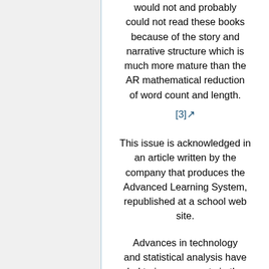most 4th and 7th graders would not and probably could not read these books because of the story and narrative structure which is much more mature than the AR mathematical reduction of word count and length. [3]
This issue is acknowledged in an article written by the company that produces the Advanced Learning System, republished at a school web site.
Advances in technology and statistical analysis have led to improvements in the science of readability, but there are still some things that readability formulas cannot do...and will never